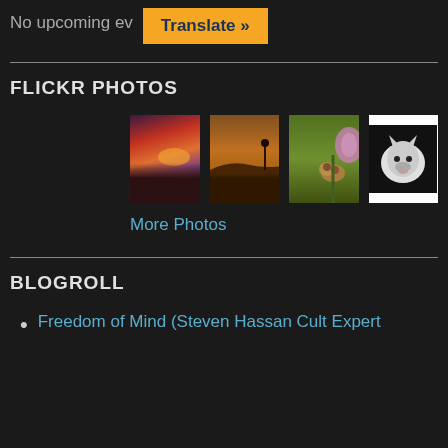No upcoming ev
Translate »
FLICKR PHOTOS
[Figure (photo): Four Flickr photo thumbnails: sunset over rocky coast, desert landscape with figure, mice on flower, wolf portrait in black and white]
More Photos
BLOGROLL
Freedom of Mind (Steven Hassan Cult Expert